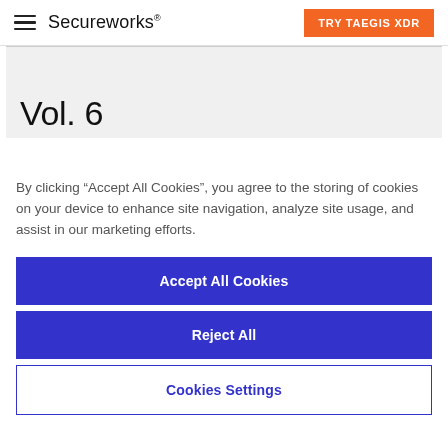Secureworks | TRY TAEGIS XDR
Vol. 6
By clicking “Accept All Cookies”, you agree to the storing of cookies on your device to enhance site navigation, analyze site usage, and assist in our marketing efforts.
Accept All Cookies
Reject All
Cookies Settings